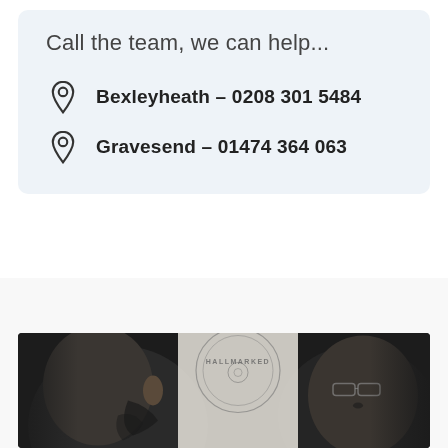Call the team, we can help...
Bexleyheath – 0208 301 5484
Gravesend – 01474 364 063
[Figure (photo): Two people facing each other in a tattoo shop setting; one person has visible tattoos on their neck and head; the other person wears glasses; a 'Hallmarked' logo is visible on the wall behind them.]